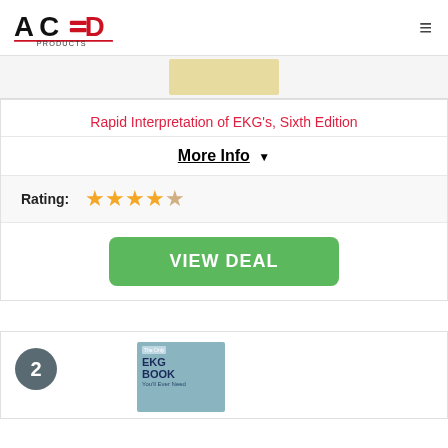ACED PRODUCTS
[Figure (other): Partial book cover image (top portion visible) with tan/yellow background]
Rapid Interpretation of EKG's, Sixth Edition
More Info ▼
Rating: ★★★★½
VIEW DEAL
[Figure (other): Number 2 badge (dark teal circle) and partial EKG book cover showing 'The Only EKG BOOK You'll Ever Need']